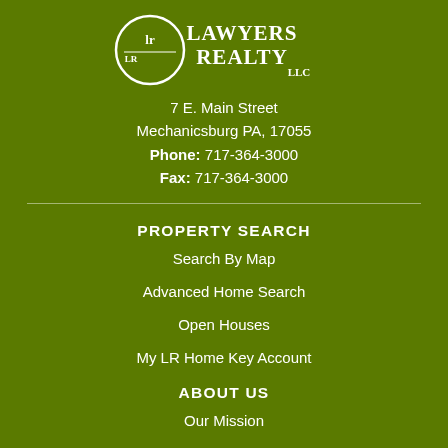[Figure (logo): Lawyers Realty LLC logo with circular LR emblem and stylized text]
7 E. Main Street
Mechanicsburg PA, 17055
Phone: 717-364-3000
Fax: 717-364-3000
PROPERTY SEARCH
Search By Map
Advanced Home Search
Open Houses
My LR Home Key Account
ABOUT US
Our Mission
Agent Roster